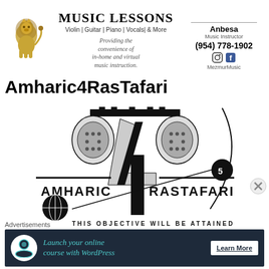[Figure (logo): Gold lion illustration on left side of music lessons banner]
MUSIC LESSONS
Violin | Guitar | Piano | Vocals| & More
Providing the convenience of in-home and virtual music instruction.
Anbesa
Music Instructor
(954) 778-1902
MezmurMusic
Amharic4RasTafari
[Figure (logo): Amharic 4 RasTafari logo with decorative Ethiopic design elements, large stylized '4' in center, text AMHARIC and RASTAFARI on sides, globe and celestial motifs]
Advertisements
Launch your online course with WordPress   Learn More